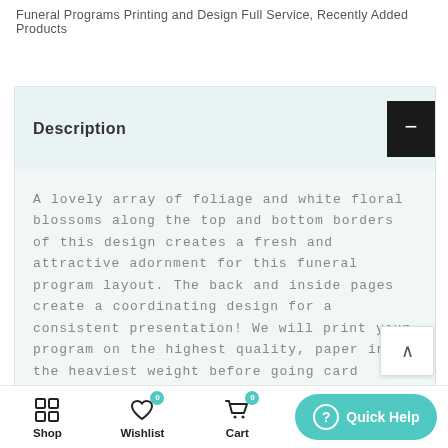Funeral Programs Printing and Design Full Service, Recently Added Products
Description
A lovely array of foliage and white floral blossoms along the top and bottom borders of this design creates a fresh and attractive adornment for this funeral program layout. The back and inside pages create a coordinating design for a consistent presentation! We will print your program on the highest quality, paper in the heaviest weight before going card stock. Choose from our signature matte finish or our popular UV gloss coated finish. Programs delivered to your door, shrink-wrapped and
Shop  Wishlist  Cart  Quick Help